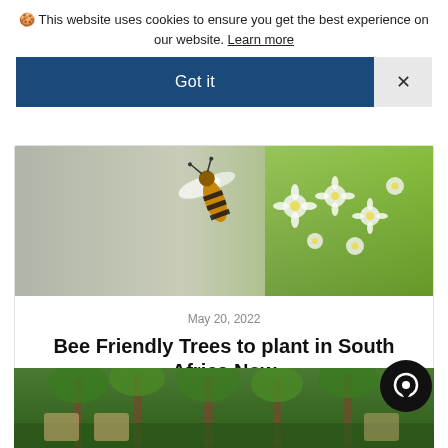🍪 This website uses cookies to ensure you get the best experience on our website. Learn more
Got it
[Figure (photo): Close-up photo of a bee or wasp on white flowers with green blurred background]
May 20, 2022
Bee Friendly Trees to plant in South Africa Now
Read now >
[Figure (photo): Garden scene with trees, lush greenery, and wicker chairs]